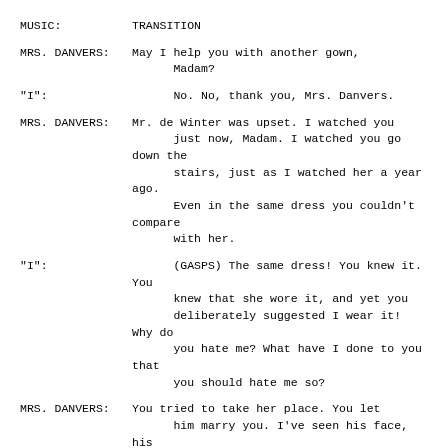MUSIC:    TRANSITION
MRS. DANVERS:May I help you with another gown, Madam?
"I":      No. No, thank you, Mrs. Danvers.
MRS. DANVERS:Mr. de Winter was upset. I watched you just now, Madam. I watched you go down the stairs, just as I watched her a year ago. Even in the same dress you couldn't compare with her.
"I":      (GASPS) The same dress! You knew it. You knew that she wore it, and yet you deliberately suggested I wear it! Why do you hate me? What have I done to you that you should hate me so?
MRS. DANVERS:You tried to take her place. You let him marry you. I've seen his face, his eyes. They're the same as those first weeks after she died. I used to listen to him -- walking up and down, up and down, all night long, night after night -- thinking of her, suffering torture because he'd lost her.